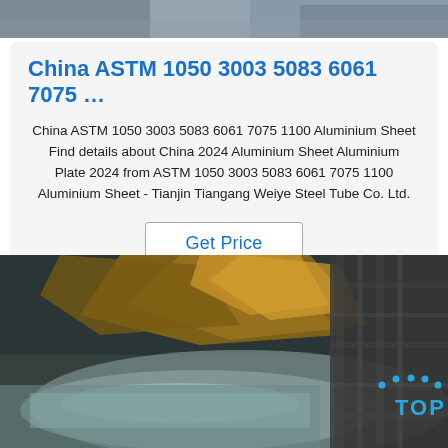[Figure (photo): Top strip photo of industrial/metal materials scene, partial view]
China ASTM 1050 3003 5083 6061 7075 …
China ASTM 1050 3003 5083 6061 7075 1100 Aluminium Sheet Find details about China 2024 Aluminium Sheet Aluminium Plate 2024 from ASTM 1050 3003 5083 6061 7075 1100 Aluminium Sheet - Tianjin Tiangang Weiye Steel Tube Co. Ltd.
Get Price
[Figure (photo): Photograph of aluminium sheets being unwrapped/handled in an industrial warehouse setting, with a TOP logo watermark in the bottom right corner]